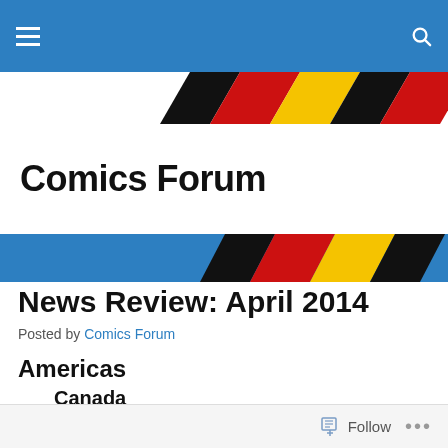Comics Forum
[Figure (illustration): Diagonal black, red, yellow/gold stripe banner across the top of the page, repeated twice (once above and once below the site title area)]
Comics Forum
News Review: April 2014
Posted by Comics Forum
Americas
Canada
Research